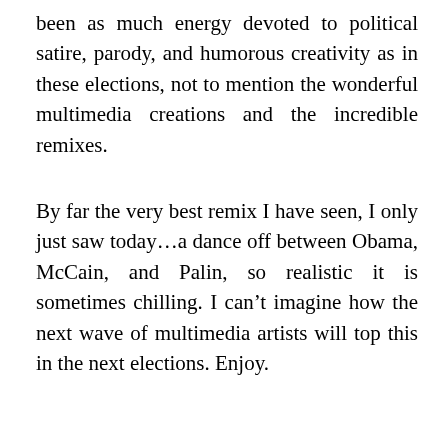been as much energy devoted to political satire, parody, and humorous creativity as in these elections, not to mention the wonderful multimedia creations and the incredible remixes.
By far the very best remix I have seen, I only just saw today…a dance off between Obama, McCain, and Palin, so realistic it is sometimes chilling. I can't imagine how the next wave of multimedia artists will top this in the next elections. Enjoy.